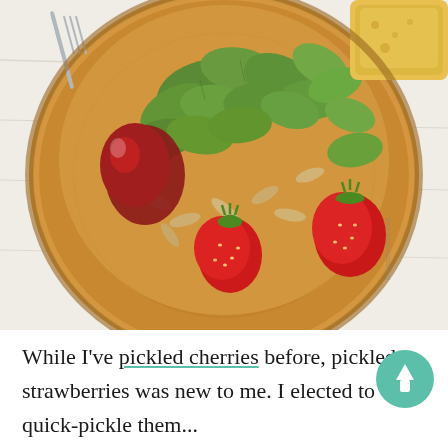[Figure (photo): Overhead photograph of a wooden plate/board with a salad containing green leaves (mâche/lamb's lettuce), fresh red strawberries (some whole, some appearing roasted/glazed), sliced almonds, and what appears to be a piece of golden fried food in the upper right corner. A fork is visible at the upper left. The plate sits on a white distressed wood surface. A small watermark reads 'loveandlemons.com' in the lower right area of the photo.]
While I've pickled cherries before, pickled strawberries was new to me. I elected to quick-pickle them...